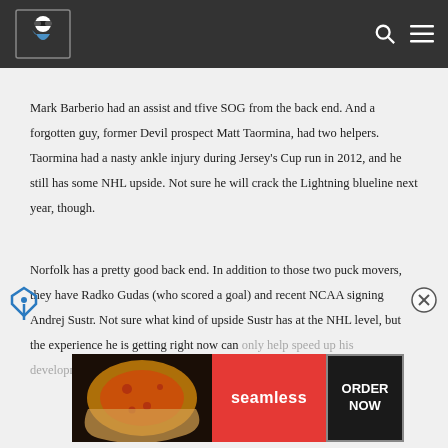Mark Barberio had an assist and tfive SOG from the back end. And a forgotten guy, former Devil prospect Matt Taormina, had two helpers. Taormina had a nasty ankle injury during Jersey's Cup run in 2012, and he still has some NHL upside. Not sure he will crack the Lightning blueline next year, though.
Norfolk has a pretty good back end. In addition to those two puck movers, they have Radko Gudas (who scored a goal) and recent NCAA signing Andrej Sustr. Not sure what kind of upside Sustr has at the NHL level, but the experience he is getting right now can only help speed up his development.
[Figure (screenshot): Seamless food ordering advertisement banner with pizza image on dark background, red Seamless logo, and ORDER NOW button with border]